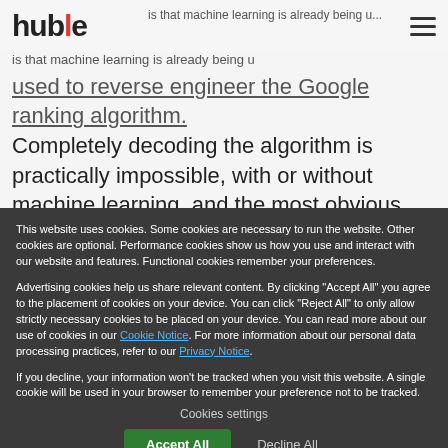huble
is that machine learning is already being used to reverse engineer the Google ranking algorithm. Completely decoding the algorithm is practically impossible, with or without machine learning, and the most obvious reason is that it is constantly changing. Nevertheless, some parts of it that carry the biggest weight or have been in the algorithm for a long period of time can
This website uses cookies. Some cookies are necessary to run the website. Other cookies are optional. Performance cookies show us how you use and interact with our website and features. Functional cookies remember your preferences.

Advertising cookies help us share relevant content. By clicking “Accept All” you agree to the placement of cookies on your device. You can click “Reject All” to only allow strictly necessary cookies to be placed on your device. You can read more about our use of cookies in our Cookie Notice. For more information about our personal data processing practices, refer to our Privacy Notice.

If you decline, your information won’t be tracked when you visit this website. A single cookie will be used in your browser to remember your preference not to be tracked.
Cookies settings
Accept All
Decline All